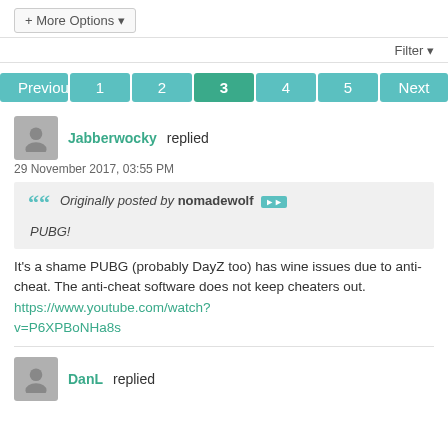+ More Options
Filter
Previous 1 2 3 4 5 Next
Jabberwocky replied
29 November 2017, 03:55 PM
Originally posted by nomadewolf
PUBG!
It's a shame PUBG (probably DayZ too) has wine issues due to anti-cheat. The anti-cheat software does not keep cheaters out. https://www.youtube.com/watch?v=P6XPBoNHa8s
DanL replied